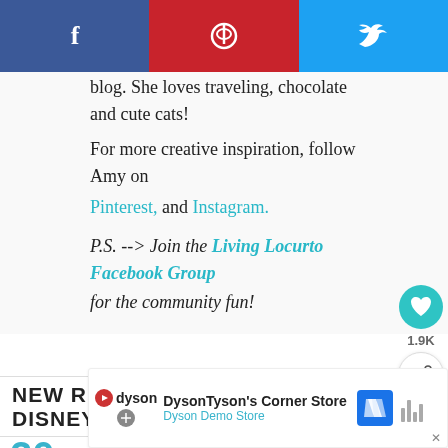[Figure (screenshot): Social share bar with Facebook (blue), Pinterest (red), and Twitter (blue) icons]
blog. She loves traveling, chocolate and cute cats!
For more creative inspiration, follow Amy on
Pinterest, and Instagram.
P.S. --> Join the Living Locurto Facebook Group for the community fun!
[Figure (screenshot): Heart button showing 1.9K likes and share button in sidebar]
NEW RECIPES & DISNEY
WHAT'S NEXT → Kid's Morning Routine Flas...
20
[Figure (screenshot): Dyson advertisement banner - DysonTyson's Corner Store, Dyson Demo Store]